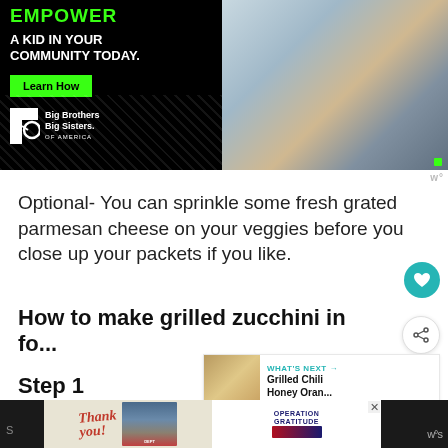[Figure (photo): Advertisement banner for Big Brothers Big Sisters of America. Left side has black background with green text 'EMPOWER A KID IN YOUR COMMUNITY TODAY.' and a green Learn How button and the BBBS logo. Right side shows a photo of an adult man and a child working on a robotics project.]
Optional- You can sprinkle some fresh grated parmesan cheese on your veggies before you close up your packets if you like.
How to make grilled zucchini in fo...
WHAT'S NEXT → Grilled Chili Honey Oran...
Step 1
[Figure (photo): Bottom advertisement banner: 'Thank you!' with Operation Gratitude logo showing military personnel in front of fire truck.]